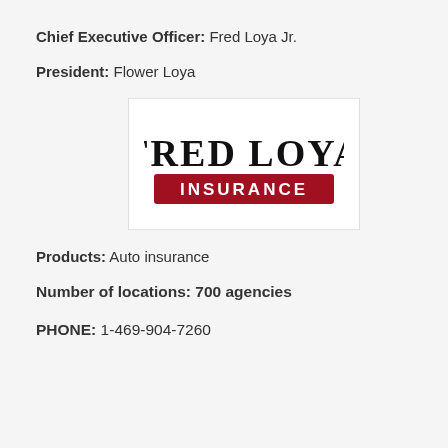Chief Executive Officer: Fred Loya Jr.
President: Flower Loya
[Figure (logo): Fred Loya Insurance logo — large serif text 'FRED LOYA' in black above a red rectangle with white text 'INSURANCE']
Products: Auto insurance
Number of locations: 700 agencies
PHONE: 1-469-904-7260